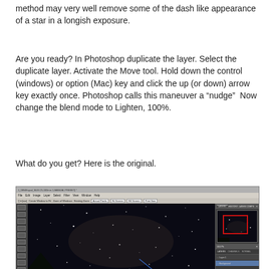method may very well remove some of the dash like appearance of a star in a longish exposure.
Are you ready? In Photoshop duplicate the layer. Select the duplicate layer. Activate the Move tool. Hold down the control (windows) or option (Mac) key and click the up (or down) arrow key exactly once. Photoshop calls this maneuver a “nudge”  Now change the blend mode to Lighten, 100%.
What do you get? Here is the original.
[Figure (screenshot): Screenshot of Adobe Photoshop showing a dark night sky star field image open in the editor, with tool palette on the left, image canvas in the center showing stars and a streak, and the Layers/panel on the right with a red rectangle overlay on the thumbnail.]